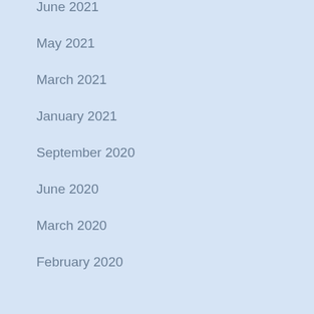June 2021
May 2021
March 2021
January 2021
September 2020
June 2020
March 2020
February 2020
November 2019
September 2019
June 2019
May 2019
September 2018
March 2018